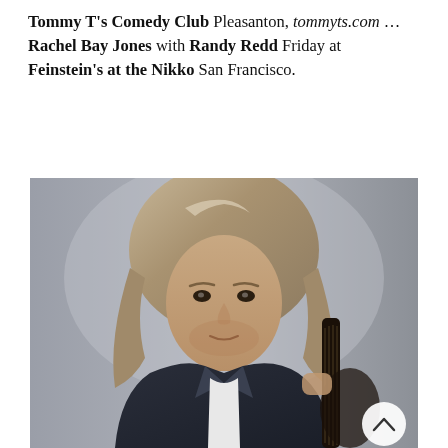Tommy T's Comedy Club Pleasanton, tommyts.com … Rachel Bay Jones with Randy Redd Friday at Feinstein's at the Nikko San Francisco.
[Figure (photo): Portrait photo of a middle-aged man with long wavy silver-blonde hair wearing a dark blazer and white shirt, holding an acoustic guitar. He is looking directly at the camera against a grey background. A circular scroll-up button is visible in the lower right corner.]